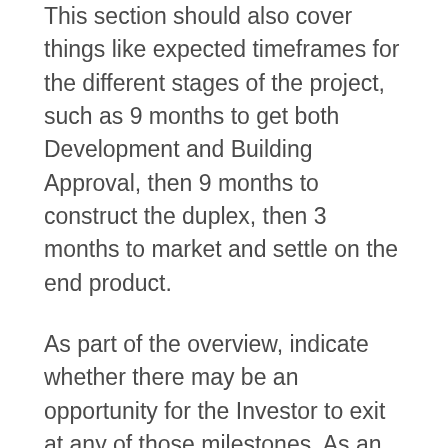This section should also cover things like expected timeframes for the different stages of the project, such as 9 months to get both Development and Building Approval, then 9 months to construct the duplex, then 3 months to market and settle on the end product.
As part of the overview, indicate whether there may be an opportunity for the Investor to exit at any of those milestones. As an example, the Investor could choose to exit after all the approvals have been obtained, as the numbers indicate it would be possible to get construction finance at that point.
Be clear about potential exit strategies. Plan A may be to see the project through to completion before selling all the end